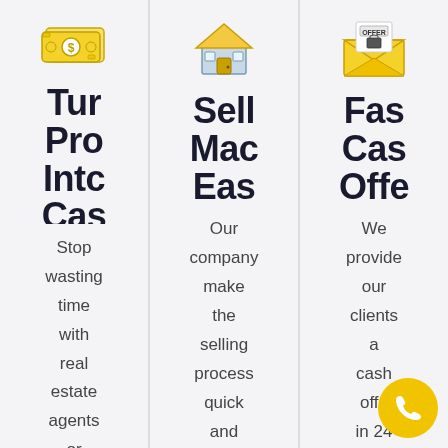[Figure (illustration): Yellow cash/money bills icon with dollar sign]
Turn Property Into Cash
Stop wasting time with real estate agents or
[Figure (illustration): House icon with yellow roof and blue walls]
Selling Made Easy
Our company make the selling process quick and
[Figure (illustration): Offer letter in yellow envelope icon]
Fast Cash Offer
We provide our clients a cash offer in 24